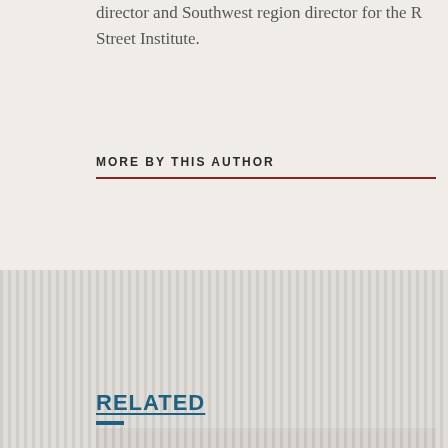director and Southwest region director for the R Street Institute.
MORE BY THIS AUTHOR
[Figure (other): Striped decorative banner background with vertical grey stripes]
RELATED
[Figure (other): Striped decorative image placeholder box with vertical grey stripes]